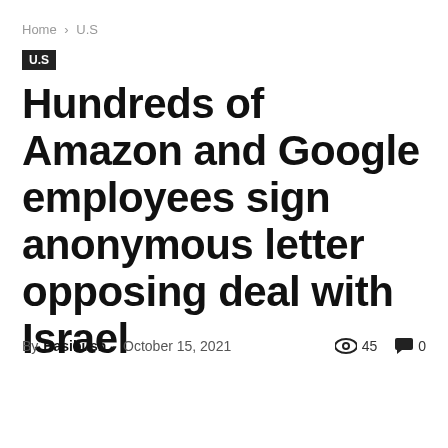Home › U.S
U.S
Hundreds of Amazon and Google employees sign anonymous letter opposing deal with Israel
By Hasibush - October 15, 2021  👁 45  💬 0